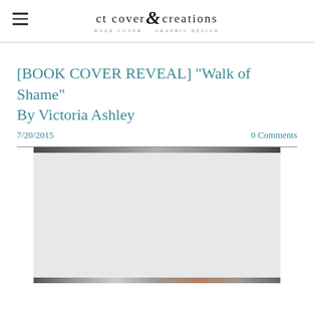ct cover creations — BOOK COVER & GRAPHIC DESIGN
[BOOK COVER REVEAL] "Walk of Shame" By Victoria Ashley
7/20/2015
0 Comments
[Figure (photo): Cropped book cover image or promotional photo for 'Walk of Shame' by Victoria Ashley, partially visible]